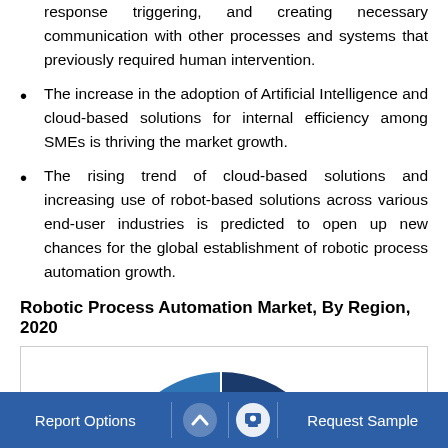response triggering, and creating necessary communication with other processes and systems that previously required human intervention.
The increase in the adoption of Artificial Intelligence and cloud-based solutions for internal efficiency among SMEs is thriving the market growth.
The rising trend of cloud-based solutions and increasing use of robot-based solutions across various end-user industries is predicted to open up new chances for the global establishment of robotic process automation growth.
Robotic Process Automation Market, By Region, 2020
[Figure (pie-chart): Partial view of a pie chart showing the Robotic Process Automation Market by Region for 2020. Visible slices include a large dark blue/navy slice, a medium blue slice, and a yellow/gold slice. The chart is cut off at the bottom.]
Report Options   ^   Request Sample